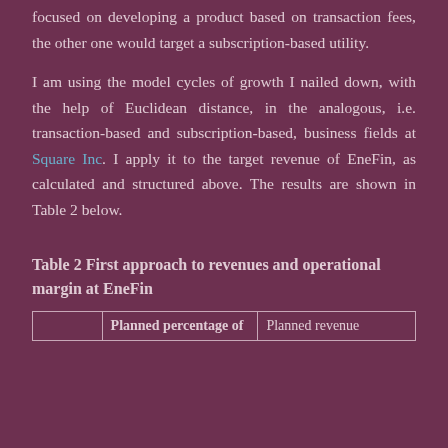focused on developing a product based on transaction fees, the other one would target a subscription-based utility.
I am using the model cycles of growth I nailed down, with the help of Euclidean distance, in the analogous, i.e. transaction-based and subscription-based, business fields at Square Inc. I apply it to the target revenue of EneFin, as calculated and structured above. The results are shown in Table 2 below.
Table 2 First approach to revenues and operational margin at EneFin
|  | Planned percentage of | Planned revenue |
| --- | --- | --- |